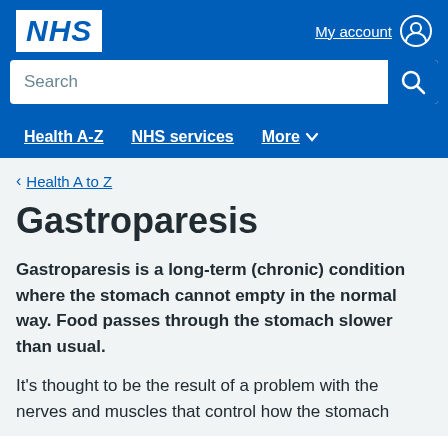NHS | My account
Gastroparesis
Health A to Z
Gastroparesis is a long-term (chronic) condition where the stomach cannot empty in the normal way. Food passes through the stomach slower than usual.
It's thought to be the result of a problem with the nerves and muscles that control how the stomach